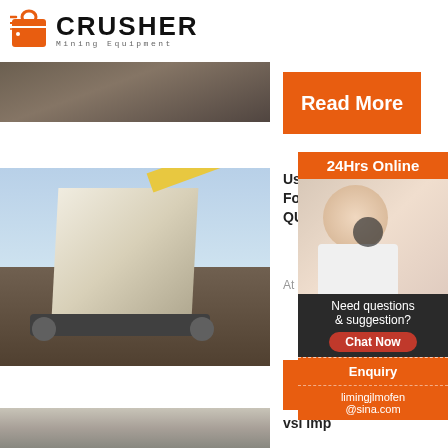[Figure (logo): Crusher Mining Equipment logo with shopping bag icon]
[Figure (photo): Top image strip showing mining/quarry scene]
Read More
[Figure (photo): Mobile crusher machinery at quarry site]
Used Eq For Sa QUARRI
At Gill Qu
Read
[Figure (photo): Customer service representative with headset - 24Hrs Online widget]
24Hrs Online
Need questions & suggestion?
Chat Now
Enquiry
limingjlmofen@sina.com
[Figure (photo): Bottom image showing crushed stone/aggregate]
vsi imp